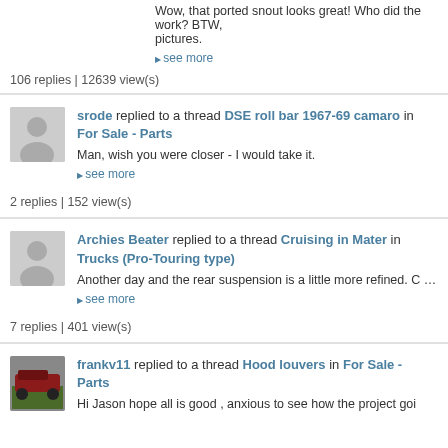Wow, that ported snout looks great! Who did the work? BTW, pictures.
▶ see more
106 replies | 12639 view(s)
srode replied to a thread DSE roll bar 1967-69 camaro in For Sale - Parts
Man, wish you were closer - I would take it.
▶ see more
2 replies | 152 view(s)
Archies Beater replied to a thread Cruising in Mater in Trucks (Pro-Touring type)
Another day and the rear suspension is a little more refined. C working on the upper mount for the bag or coil. ( I'm hoping to
▶ see more
7 replies | 401 view(s)
frankv11 replied to a thread Hood louvers in For Sale - Parts
Hi Jason hope all is good , anxious to see how the project goi